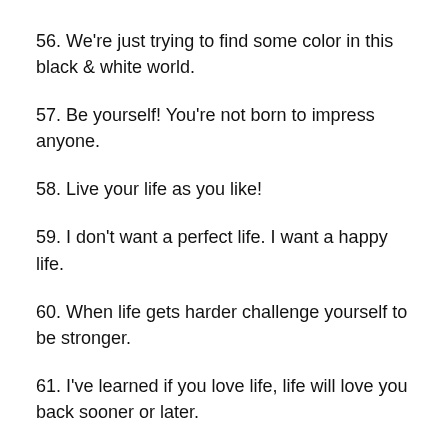56. We're just trying to find some color in this black & white world.
57. Be yourself! You're not born to impress anyone.
58. Live your life as you like!
59. I don't want a perfect life. I want a happy life.
60. When life gets harder challenge yourself to be stronger.
61. I've learned if you love life, life will love you back sooner or later.
62. Success always hugs you in private, but failure